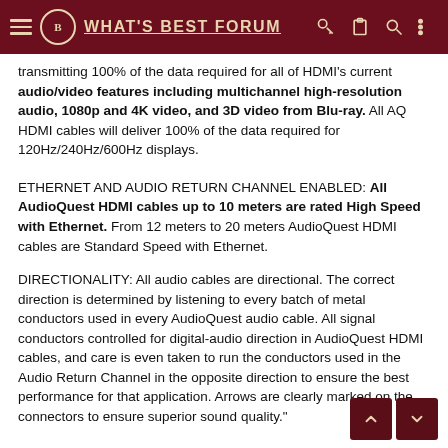WHAT'S BEST FORUM
transmitting 100% of the data required for all of HDMI's current audio/video features including multichannel high-resolution audio, 1080p and 4K video, and 3D video from Blu-ray. All AQ HDMI cables will deliver 100% of the data required for 120Hz/240Hz/600Hz displays.
ETHERNET AND AUDIO RETURN CHANNEL ENABLED: All AudioQuest HDMI cables up to 10 meters are rated High Speed with Ethernet. From 12 meters to 20 meters AudioQuest HDMI cables are Standard Speed with Ethernet.
DIRECTIONALITY: All audio cables are directional. The correct direction is determined by listening to every batch of metal conductors used in every AudioQuest audio cable. All signal conductors controlled for digital-audio direction in AudioQuest HDMI cables, and care is even taken to run the conductors used in the Audio Return Channel in the opposite direction to ensure the best performance for that application. Arrows are clearly marked on the connectors to ensure superior sound quality."